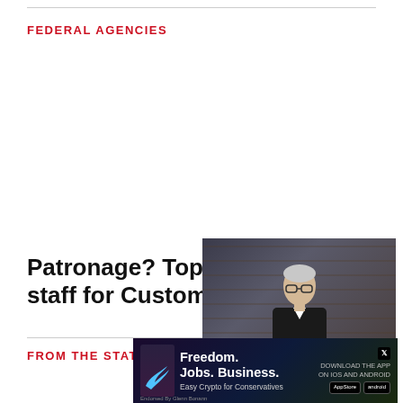FEDERAL AGENCIES
Patronage? Top Virginia Dem sought staff for Customs and Border…
FROM THE STATES
[Figure (screenshot): Video player showing a man in glasses and dark jacket sitting in front of bookshelves, with playback controls and a Just the News logo. A badge reads '8 seconds...']
[Figure (infographic): Advertisement banner for a crypto app: 'Freedom. Jobs. Business. Easy Crypto for Conservatives.' with download links for iOS and Android, and an X (Twitter) icon.]